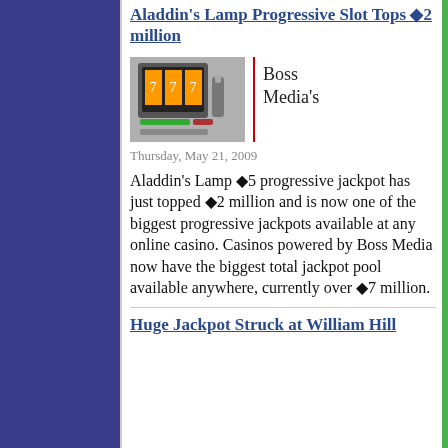Aladdin's Lamp Progressive Slot Tops ◆2 million
[Figure (photo): Photo of an Aladdin's Lamp slot machine with colorful display]
Boss Media's
Thursday, May 21, 2009
Aladdin's Lamp ◆5 progressive jackpot has just topped ◆2 million and is now one of the biggest progressive jackpots available at any online casino. Casinos powered by Boss Media now have the biggest total jackpot pool available anywhere, currently over ◆7 million.
Huge Jackpot Struck at William Hill